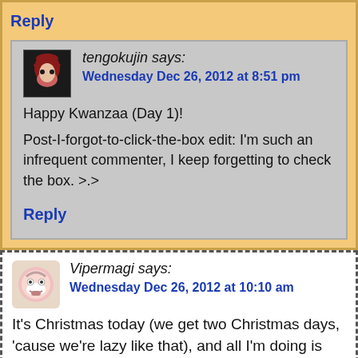Reply
tengokujin says:
Wednesday Dec 26, 2012 at 8:51 pm
Happy Kwanzaa (Day 1)!
Post-I-forgot-to-click-the-box edit: I'm such an infrequent commenter, I keep forgetting to check the box. >.>
Reply
Vipermagi says:
Wednesday Dec 26, 2012 at 10:10 am
It's Christmas today (we get two Christmas days, 'cause we're lazy like that), and all I'm doing is pointing out spelling